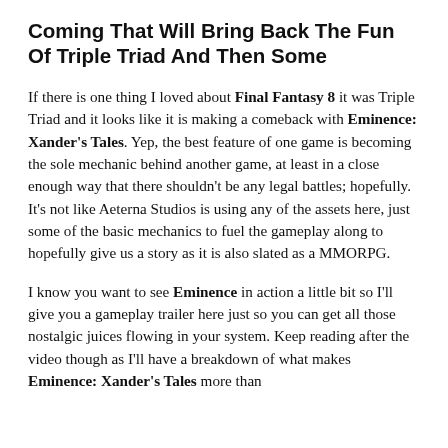Coming That Will Bring Back The Fun Of Triple Triad And Then Some
If there is one thing I loved about Final Fantasy 8 it was Triple Triad and it looks like it is making a comeback with Eminence: Xander's Tales. Yep, the best feature of one game is becoming the sole mechanic behind another game, at least in a close enough way that there shouldn't be any legal battles; hopefully. It's not like Aeterna Studios is using any of the assets here, just some of the basic mechanics to fuel the gameplay along to hopefully give us a story as it is also slated as a MMORPG.
I know you want to see Eminence in action a little bit so I'll give you a gameplay trailer here just so you can get all those nostalgic juices flowing in your system. Keep reading after the video though as I'll have a breakdown of what makes Eminence: Xander's Tales more than